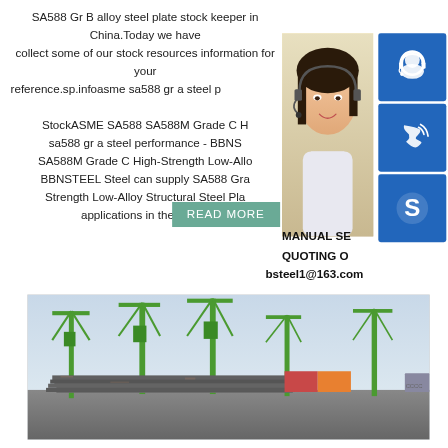SA588 Gr B alloy steel plate stock keeper in China.Today we have collect some of our stock resources information for your reference.sp.infoasme sa588 gr a steel performance - More Steel StockASME SA588 SA588M Grade C H sa588 gr a steel performance - BBNS SA588M Grade C High-Strength Low-Allo BBNSTEEL Steel can supply SA588 Gra Strength Low-Alloy Structural Steel Pla applications in the bare c
[Figure (photo): Customer service representative woman with headset smiling]
[Figure (illustration): Blue icon boxes: headset/customer service icon, phone/call icon, Skype icon]
READ MORE
MANUAL SE QUOTING O bsteel1@163.com
[Figure (photo): Industrial port with green cranes and stacked steel plates]